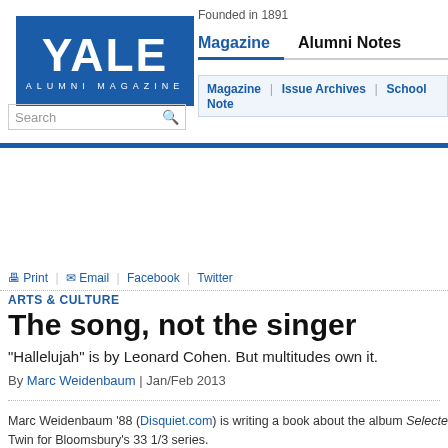[Figure (logo): Yale Alumni Magazine blue logo with white text]
[Figure (screenshot): Search input box with magnifying glass icon]
Founded in 1891
Magazine | Alumni Notes
Magazine | Issue Archives | School Notes
Print | Email | Facebook | Twitter
ARTS & CULTURE
The song, not the singer
“Hallelujah” is by Leonard Cohen. But multitudes own it.
By Marc Weidenbaum | Jan/Feb 2013
Marc Weidenbaum ’88 (Disquiet.com) is writing a book about the album Selecte Twin for Bloomsbury’s 33 1/3 series.